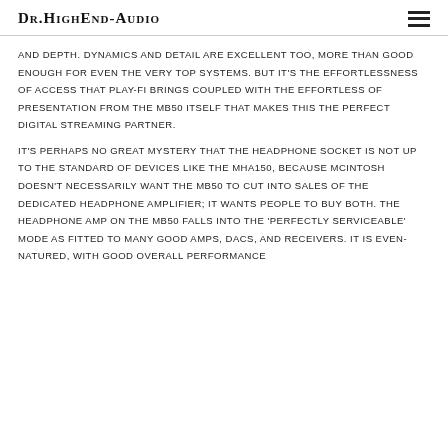Dr.HighEnd-Audio
and depth. Dynamics and detail are excellent too, more than good enough for even the very top systems. But it's the effortlessness of access that Play-Fi brings coupled with the effortless of presentation from the MB50 itself that makes this the perfect digital streaming partner.
It's perhaps no great mystery that the headphone socket is not up to the standard of devices like the MHA150, because McIntosh doesn't necessarily want the MB50 to cut into sales of the dedicated headphone amplifier; it wants people to buy both. The headphone amp on the MB50 falls into the 'perfectly serviceable' mode as fitted to many good amps, DACs, and receivers. It is even-natured, with good overall performance